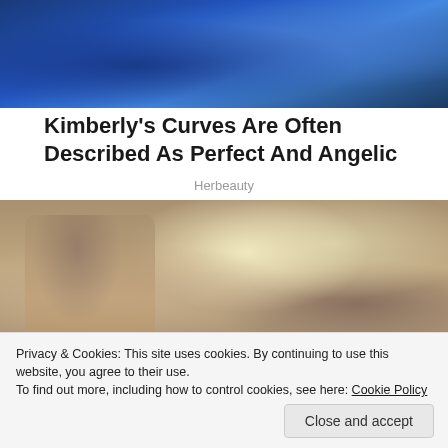[Figure (photo): Partial photo of a woman in a blue dress]
Kimberly's Curves Are Often Described As Perfect And Angelic
Herbeauty
[Figure (photo): Woman sitting on a couch petting a dog in a living room setting]
Privacy & Cookies: This site uses cookies. By continuing to use this website, you agree to their use.
To find out more, including how to control cookies, see here: Cookie Policy
Close and accept